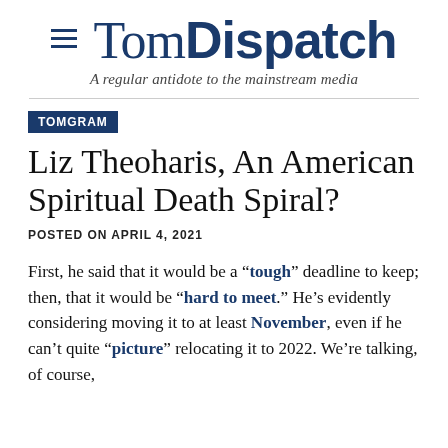TomDispatch — A regular antidote to the mainstream media
TOMGRAM
Liz Theoharis, An American Spiritual Death Spiral?
POSTED ON APRIL 4, 2021
First, he said that it would be a "tough" deadline to keep; then, that it would be "hard to meet." He's evidently considering moving it to at least November, even if he can't quite "picture" relocating it to 2022. We're talking, of course,